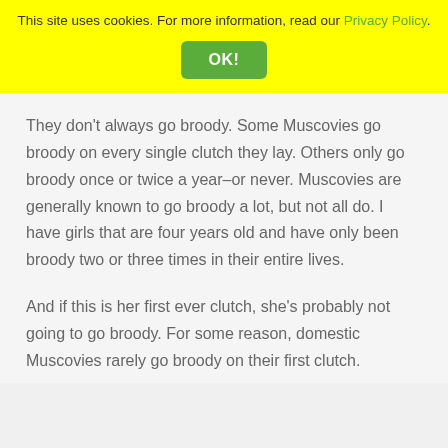This site uses cookies. For more information, read our Privacy Policy.
OK!
They don't always go broody. Some Muscovies go broody on every single clutch they lay. Others only go broody once or twice a year–or never. Muscovies are generally known to go broody a lot, but not all do. I have girls that are four years old and have only been broody two or three times in their entire lives.
And if this is her first ever clutch, she's probably not going to go broody. For some reason, domestic Muscovies rarely go broody on their first clutch.
Likely, she'll stop laying within a few days and take a break. My ducks will lay a clutch, stop laying for a couple weeks, and then lay another clutch. It does depend on the